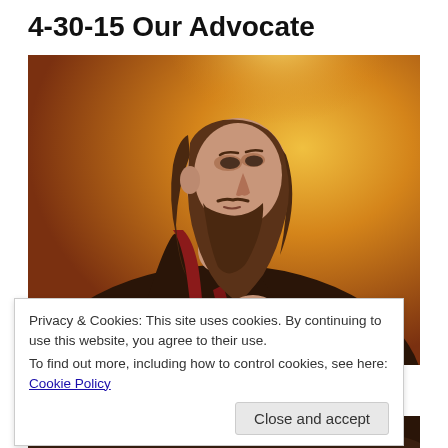4-30-15 Our Advocate
[Figure (illustration): Painting of Jesus Christ in profile, looking upward, with long brown hair and beard, wearing a dark robe and red sash, against a warm golden-orange background. He holds his hand to his chest.]
Privacy & Cookies: This site uses cookies. By continuing to use this website, you agree to their use.
To find out more, including how to control cookies, see here: Cookie Policy
Close and accept